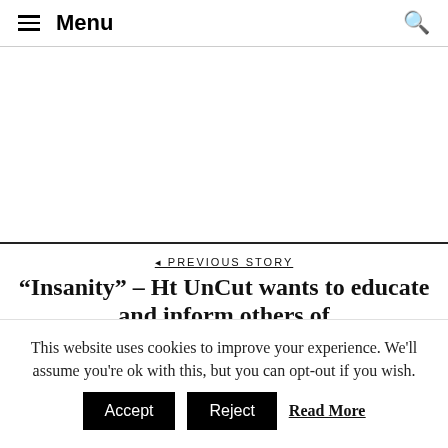Menu
[Figure (other): Empty white advertisement/banner area]
◄ PREVIOUS STORY
“Insanity” – Ht UnCut wants to educate and inform others of
This website uses cookies to improve your experience. We'll assume you're ok with this, but you can opt-out if you wish. Accept Reject Read More